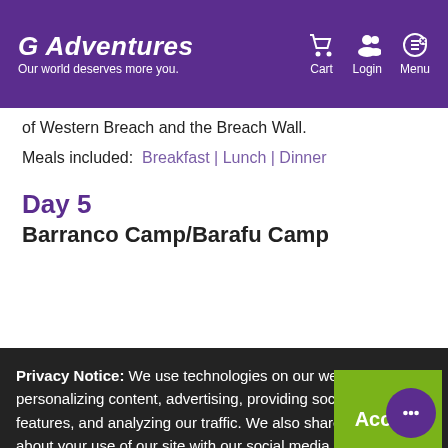G Adventures — Our world deserves more you. | Cart | Login | Menu
of Western Breach and the Breach Wall.
Meals included: Breakfast | Lunch | Dinner
Day 5
Barranco Camp/Barafu Camp
Privacy Notice: We use technologies on our website for personalizing content, advertising, providing social media features, and analyzing our traffic. We also share information about your use of our site with our social media, advertising and analytics partners. By continuing to use this website, you consent to our use of this technology. You can control this through your Privacy Options.